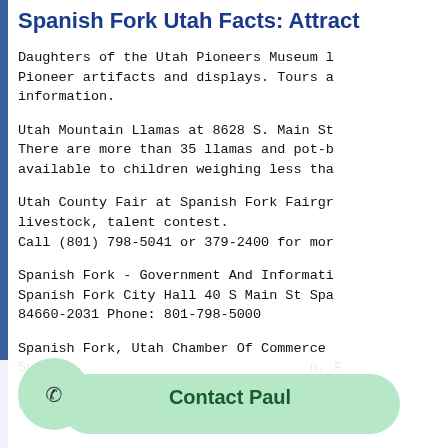Spanish Fork Utah Facts: Attract
Daughters of the Utah Pioneers Museum l
Pioneer artifacts and displays. Tours a
information.
Utah Mountain Llamas at 8628 S. Main St
There are more than 35 llamas and pot-b
available to children weighing less tha
Utah County Fair at Spanish Fork Fairgr
livestock, talent contest.
Call (801) 798-5041 or 379-2400 for mor
Spanish Fork - Government And Informati
Spanish Fork City Hall 40 S Main St Spa
84660-2031 Phone: 801-798-5000
Spanish Fork, Utah Chamber Of Commerce
Spa                              n, F
Sp
Ph                               8-5
Contact Paul